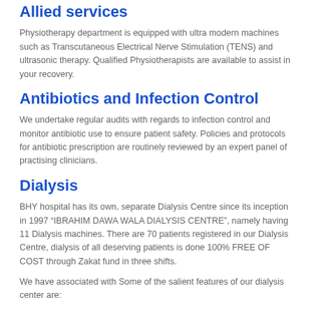Allied services
Physiotherapy department is equipped with ultra modern machines such as Transcutaneous Electrical Nerve Stimulation (TENS) and ultrasonic therapy. Qualified Physiotherapists are available to assist in your recovery.
Antibiotics and Infection Control
We undertake regular audits with regards to infection control and monitor antibiotic use to ensure patient safety. Policies and protocols for antibiotic prescription are routinely reviewed by an expert panel of practising clinicians.
Dialysis
BHY hospital has its own, separate Dialysis Centre since its inception in 1997 “IBRAHIM DAWA WALA DIALYSIS CENTRE”, namely having 11 Dialysis machines. There are 70 patients registered in our Dialysis Centre, dialysis of all deserving patients is done 100% FREE OF COST through Zakat fund in three shifts.
We have associated with Some of the salient features of our dialysis center are: